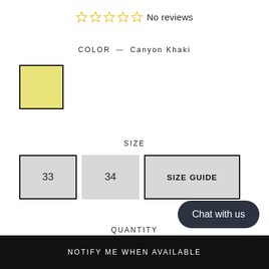☆☆☆☆☆ No reviews
COLOR — Canyon Khaki
[Figure (illustration): Yellow/khaki color swatch square with black border]
SIZE
33   34   SIZE GUIDE
QUANTITY
- 1 +
SOLD OUT
Chat with us
NOTIFY ME WHEN AVAILABLE